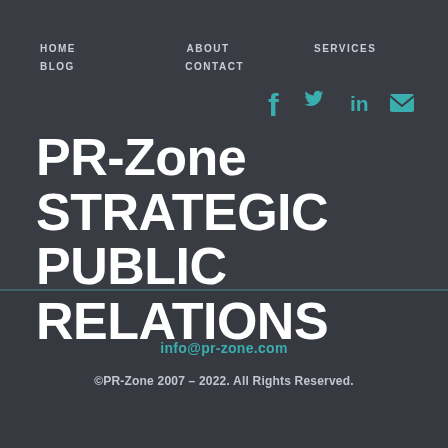HOME   ABOUT   SERVICES   BLOG   CONTACT
[Figure (illustration): Social media icons: Facebook, Twitter, LinkedIn, Email in teal color]
PR-Zone STRATEGIC PUBLIC RELATIONS
info@pr-zone.com
©PR-Zone 2007 – 2022. All Rights Reserved.